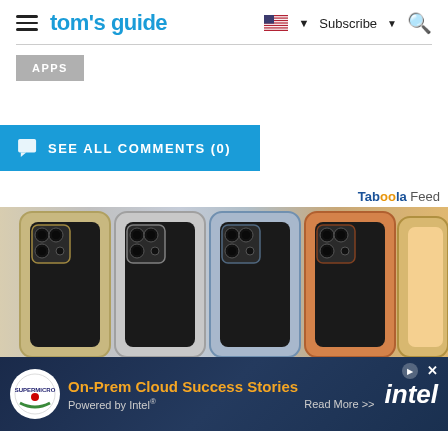tom's guide — Subscribe — Search
APPS
SEE ALL COMMENTS (0)
Taboola Feed
[Figure (photo): Multiple iPhone 15 Pro models displayed side by side showing triple camera systems in various colors: gold, silver, blue, and orange]
[Figure (illustration): Supermicro advertisement banner: On-Prem Cloud Success Stories Powered by Intel — Read More >> with Intel logo]